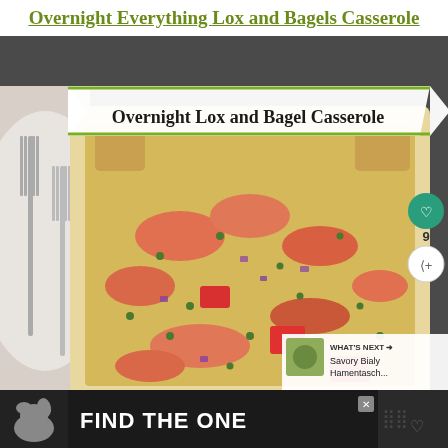Overnight Everything Lox and Bagels Casserole
[Figure (photo): Photo of an overnight lox and bagel casserole in a white baking dish, with smoked salmon, capers, diced red onion, tomatoes, topped with a decorative banner reading 'Overnight Lox and Bagel Casserole'. Forks and plate visible on the left side. UI overlays: heart/like button (9 likes), share button, What's Next panel showing Savory Bialy Hamentasch preview.]
[Figure (screenshot): Advertisement bar at the bottom: dark background with dog illustration and text 'FIND THE ONE' with a close button and decorative hearts icon on the right.]